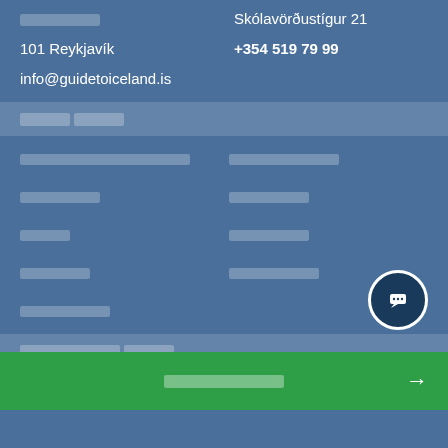[redacted] / Skólavörðustígur 21
101 Reykjavík / +354 519 79 99
info@guidetoiceland.is
[redacted section header]
[redacted links grid]
[redacted section header 2]
[redacted bottom link row]
[redacted green bar button]